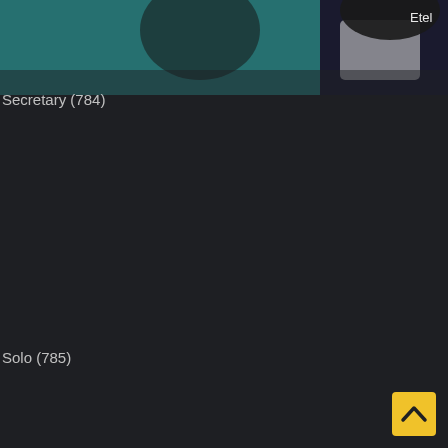[Figure (screenshot): Partial screenshot of a video streaming interface showing a movie thumbnail at the top. The image shows people in what appears to be a scene, with teal/green and dark tones. Partially visible text 'Etel' in the top right corner of the thumbnail.]
Secretary (784)
Solo (785)
[Figure (other): Yellow/gold square button with a caret/chevron up arrow icon in the bottom right corner of the page, used as a scroll-to-top button.]